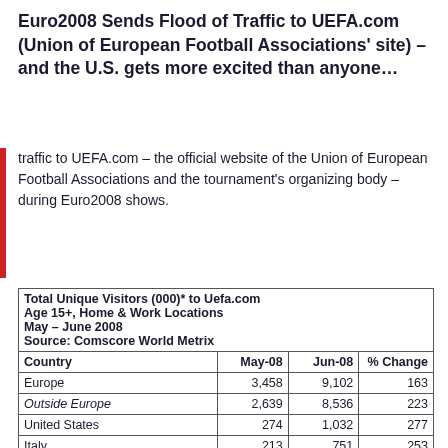Euro2008 Sends Flood of Traffic to UEFA.com (Union of European Football Associations' site) – and the U.S. gets more excited than anyone…
traffic to UEFA.com – the official website of the Union of European Football Associations and the tournament's organizing body – during Euro2008 shows.
| Country | May-08 | Jun-08 | % Change |
| --- | --- | --- | --- |
| Europe | 3,458 | 9,102 | 163 |
| Outside Europe | 2,639 | 8,536 | 223 |
| United States | 274 | 1,032 | 277 |
| Italy | 213 | 751 | 253 |
| Austria | 61 | 200 | 226 |
| Germany | 604 | 1893 | 214 |